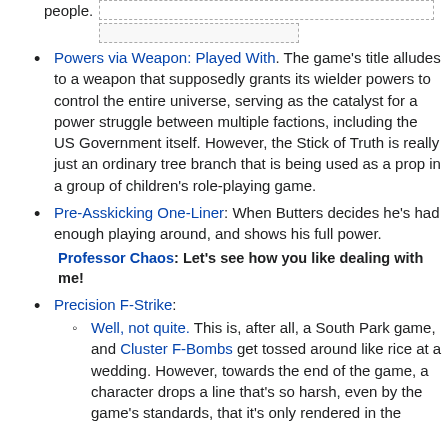people.
Powers via Weapon: Played With. The game's title alludes to a weapon that supposedly grants its wielder powers to control the entire universe, serving as the catalyst for a power struggle between multiple factions, including the US Government itself. However, the Stick of Truth is really just an ordinary tree branch that is being used as a prop in a group of children's role-playing game.
Pre-Asskicking One-Liner: When Butters decides he's had enough playing around, and shows his full power.
Professor Chaos: Let's see how you like dealing with me!
Precision F-Strike:
Well, not quite. This is, after all, a South Park game, and Cluster F-Bombs get tossed around like rice at a wedding. However, towards the end of the game, a character drops a line that's so harsh, even by the game's standards, that it's only rendered in the